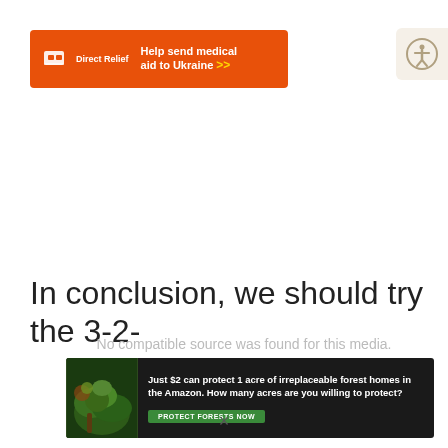[Figure (infographic): Direct Relief orange banner ad: logo on left, text 'Help send medical aid to Ukraine >>']
[Figure (infographic): Accessibility icon button (circular figure with arms outstretched) on beige background, top right corner]
In conclusion, we should try the 3-2-
No compatible source was found for this media.
[Figure (infographic): Amazon forest conservation banner ad: 'Just $2 can protect 1 acre of irreplaceable forest homes in the Amazon. How many acres are you willing to protect?' with 'PROTECT FORESTS NOW' button]
×